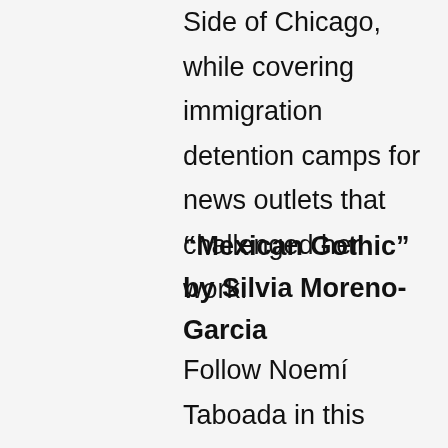Side of Chicago, while covering immigration detention camps for news outlets that challenged her work.
“Mexican Gothic” by Silvia Moreno-Garcia
Follow Noemí Taboada in this spooky thriller as she strives to save a family member from a suspicious house in the Mexican countryside called High Place. Be on the lookout for the limited